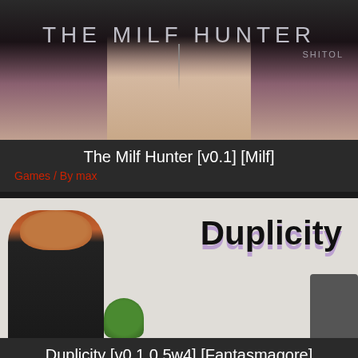[Figure (screenshot): Game cover image for The Milf Hunter showing stylized title text overlay on a scene]
The Milf Hunter [v0.1] [Milf]
Games / By max
[Figure (screenshot): Game cover image for Duplicity showing a male character from behind with red hair and black jacket, with 'Duplicity' title in bold black text and purple shadow]
Duplicity [v0.1.0.5w4] [Fantasmagore]
Games / By max